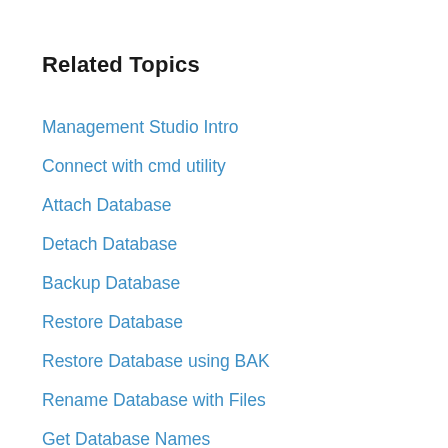Related Topics
Management Studio Intro
Connect with cmd utility
Attach Database
Detach Database
Backup Database
Restore Database
Restore Database using BAK
Rename Database with Files
Get Database Names
Create Table